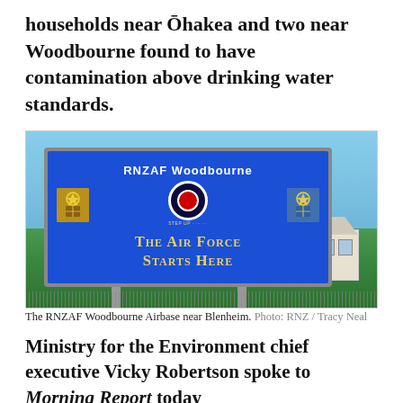households near Ōhakea and two near Woodbourne found to have contamination above drinking water standards.
[Figure (photo): Photo of the RNZAF Woodbourne Airbase sign reading 'RNZAF Woodbourne' and 'The Air Force Starts Here' on a blue background, with trees and a building in the background.]
The RNZAF Woodbourne Airbase near Blenheim. Photo: RNZ / Tracy Neal
Ministry for the Environment chief executive Vicky Robertson spoke to Morning Report today